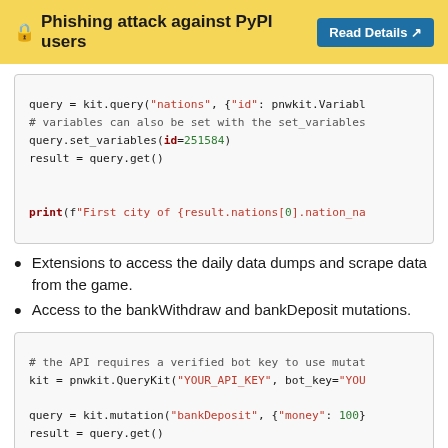🔒 Phishing attack against PyPI users  Read Details ↗
[Figure (screenshot): Code block showing Python pnwkit query usage with set_variables and print statement]
Extensions to access the daily data dumps and scrape data from the game.
Access to the bankWithdraw and bankDeposit mutations.
[Figure (screenshot): Code block showing pnwkit mutation with bankDeposit, YOUR_API_KEY, and query.get()]